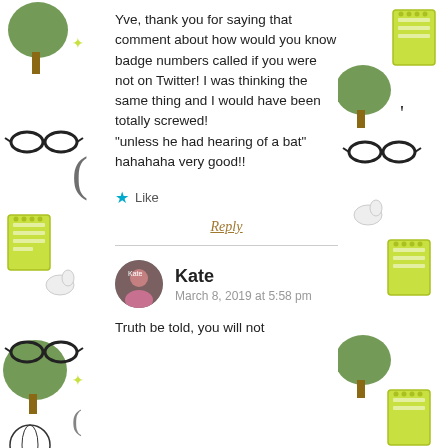[Figure (illustration): Decorative left sidebar with illustrated trees, glasses, parentheses, globes, and notebook/typewriter items in black and yellow-green]
Yve, thank you for saying that comment about how would you know badge numbers called if you were not on Twitter! I was thinking the same thing and I would have been totally screwed! "unless he had hearing of a bat" hahahaha very good!!
★ Like
Reply
Kate
March 8, 2019 at 5:58 pm
Truth be told, you will not
[Figure (illustration): Decorative right sidebar with illustrated trees, glasses, parentheses, globes, and notebook/typewriter items in black and yellow-green]